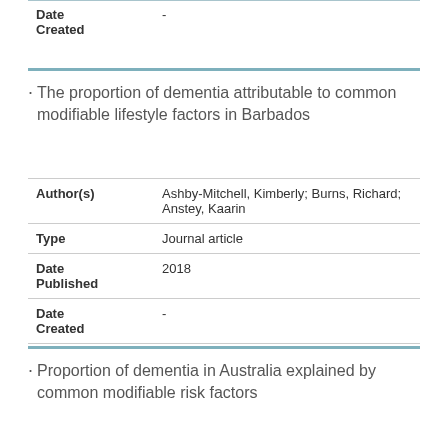| Field | Value |
| --- | --- |
| Date Created | - |
The proportion of dementia attributable to common modifiable lifestyle factors in Barbados
| Field | Value |
| --- | --- |
| Author(s) | Ashby-Mitchell, Kimberly; Burns, Richard; Anstey, Kaarin |
| Type | Journal article |
| Date Published | 2018 |
| Date Created | - |
Proportion of dementia in Australia explained by common modifiable risk factors